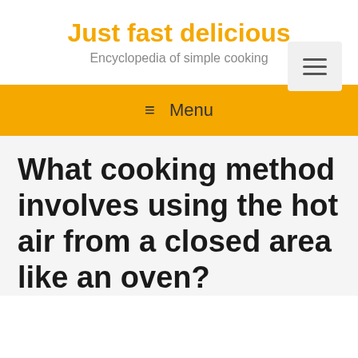Just fast delicious
Encyclopedia of simple cooking
[Figure (other): Hamburger menu icon button in light gray rounded box]
≡ Menu
What cooking method involves using the hot air from a closed area like an oven?